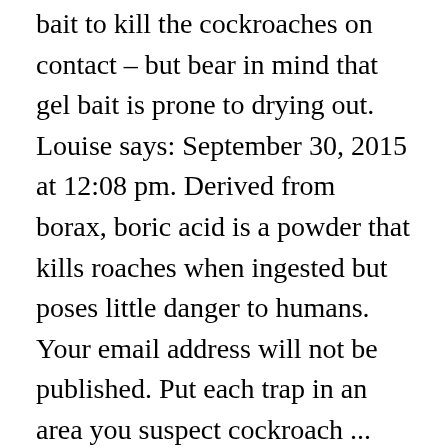bait to kill the cockroaches on contact – but bear in mind that gel bait is prone to drying out. Louise says: September 30, 2015 at 12:08 pm. Derived from borax, boric acid is a powder that kills roaches when ingested but poses little danger to humans. Your email address will not be published. Put each trap in an area you suspect cockroach ... Sticky cockroach bait traps are a good monitoring tool, but not a good way to get rid of cockroaches. When they return to the nest and die, they will also contaminate other cockroaches ... You may be ... It has many different uses and one of them is to kill cockroaches. Setup the bait in a location